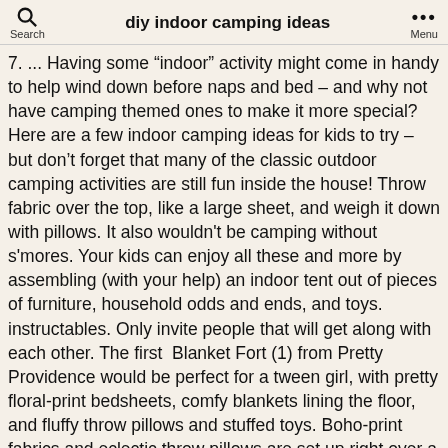diy indoor camping ideas
7. ... Having some “indoor” activity might come in handy to help wind down before naps and bed – and why not have camping themed ones to make it more special? Here are a few indoor camping ideas for kids to try – but don’t forget that many of the classic outdoor camping activities are still fun inside the house! Throw fabric over the top, like a large sheet, and weigh it down with pillows. It also wouldn't be camping without s'mores. Your kids can enjoy all these and more by assembling (with your help) an indoor tent out of pieces of furniture, household odds and ends, and toys. instructables. Only invite people that will get along with each other. The first  Blanket Fort (1) from Pretty Providence would be perfect for a tween girl, with pretty floral-print bedsheets, comfy blankets lining the floor, and fluffy throw pillows and stuffed toys. Boho-print fabrics and eclectic throw pillows are set up right over a mattress on the floor, ideal for game night with siblings, reading or journaling—while enjoying snacks and wine! We included everything you need to make your camping